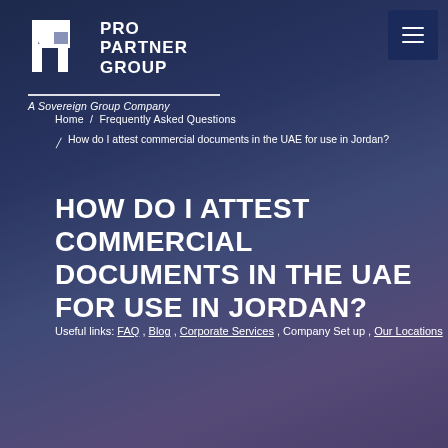[Figure (logo): Pro Partner Group logo — white icon of two mirrored P shapes and text PRO PARTNER GROUP]
A Sovereign Group Company
Home / Frequently Asked Questions
How do I attest commercial documents in the UAE for use in Jordan?
HOW DO I ATTEST COMMERCIAL DOCUMENTS IN THE UAE FOR USE IN JORDAN?
Useful links: FAQ , Blog , Corporate Services , Company Set up , Our Locations